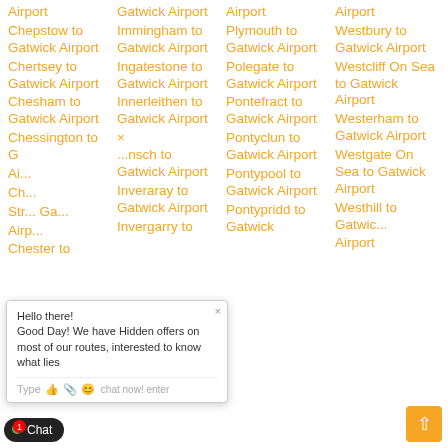Airport
Chepstow to Gatwick Airport
Chertsey to Gatwick Airport
Chesham to Gatwick Airport
Chessington to Gatwick Airport
Ch... Street to Gatwick Airport
Chester to
Gatwick Airport
Immingham to Gatwick Airport
Ingatestone to Gatwick Airport
Innerleithen to Gatwick Airport
...nsch to Gatwick Airport
Inveraray to Gatwick Airport
Invergarry to
Airport
Plymouth to Gatwick Airport
Polegate to Gatwick Airport
Pontefract to Gatwick Airport
Pontyclun to Gatwick Airport
Pontypool to Gatwick Airport
Pontypridd to Gatwick
Airport
Westbury to Gatwick Airport
Westcliff On Sea to Gatwick Airport
Westerham to Gatwick Airport
Westgate On Sea to Gatwick Airport
Westhill to Gatwick Airport